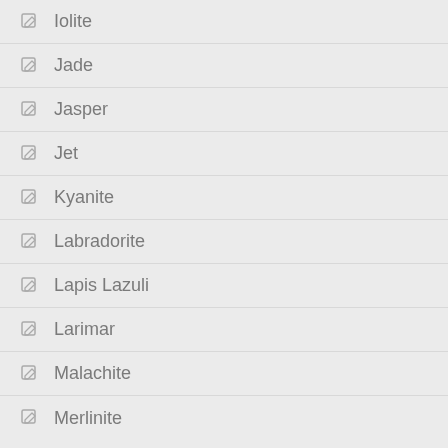Iolite
Jade
Jasper
Jet
Kyanite
Labradorite
Lapis Lazuli
Larimar
Malachite
Merlinite